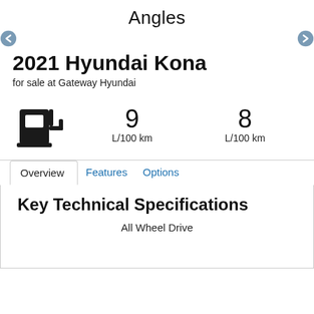Angles
2021 Hyundai Kona
for sale at Gateway Hyundai
[Figure (infographic): Fuel pump icon with two fuel consumption stats: 9 L/100 km and 8 L/100 km]
Overview | Features | Options (tab bar)
Key Technical Specifications
All Wheel Drive